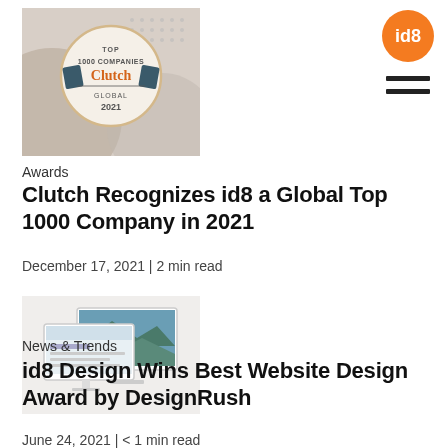[Figure (logo): id8 orange circular logo in top right corner]
[Figure (illustration): Hamburger menu icon (two horizontal lines) in top right area]
[Figure (photo): Clutch Top 1000 Companies Global 2021 award badge on decorative background]
Awards
Clutch Recognizes id8 a Global Top 1000 Company in 2021
December 17, 2021 | 2 min read
[Figure (photo): Two iMac-style computer monitors displaying website designs]
News & Trends
id8 Design Wins Best Website Design Award by DesignRush
June 24, 2021 | < 1 min read